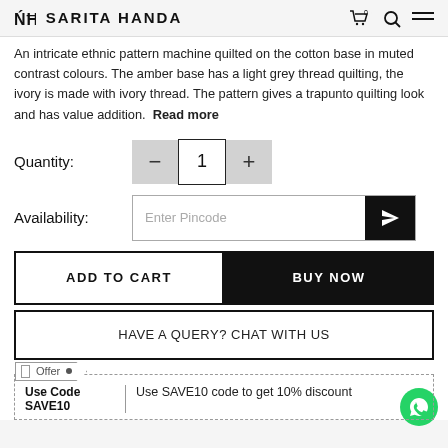SH SARITA HANDA
An intricate ethnic pattern machine quilted on the cotton base in muted contrast colours. The amber base has a light grey thread quilting, the ivory is made with ivory thread. The pattern gives a trapunto quilting look and has value addition. Read more
Quantity: 1
Availability: Enter Pincode
ADD TO CART
BUY NOW
HAVE A QUERY? CHAT WITH US
Offer
Use Code
SAVE10
Use SAVE10 code to get 10% discount